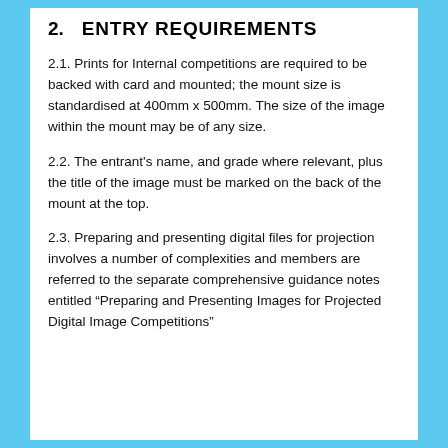2. ENTRY REQUIREMENTS
2.1. Prints for Internal competitions are required to be backed with card and mounted; the mount size is standardised at 400mm x 500mm. The size of the image within the mount may be of any size.
2.2. The entrant’s name, and grade where relevant, plus the title of the image must be marked on the back of the mount at the top.
2.3. Preparing and presenting digital files for projection involves a number of complexities and members are referred to the separate comprehensive guidance notes entitled “Preparing and Presenting Images for Projected Digital Image Competitions”